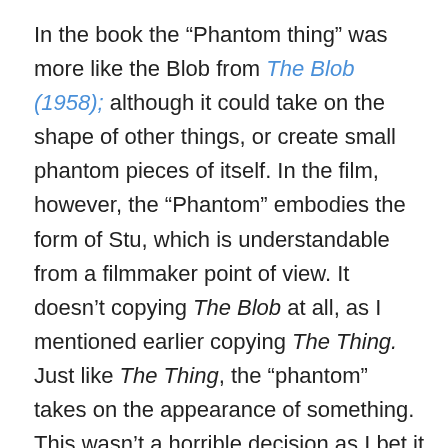In the book the “Phantom thing” was more like the Blob from The Blob (1958); although it could take on the shape of other things, or create small phantom pieces of itself. In the film, however, the “Phantom” embodies the form of Stu, which is understandable from a filmmaker point of view. It doesn’t copying The Blob at all, as I mentioned earlier copying The Thing. Just like The Thing, the “phantom” takes on the appearance of something. This wasn’t a horrible decision as I bet it was easier to film. They also did a lot of blackout or limited lighting when the creature was in its true form, which allowed it to remain creepy as your imagination creates it. The director of It (1990) should have used the same technique, it would have been a better film.
I didn’t really care for Liev Schreiber, and thought he could